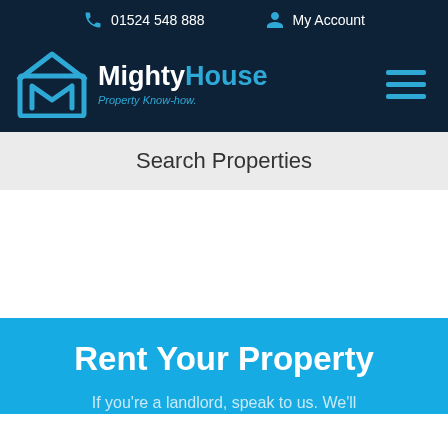01524 548 888  My Account
[Figure (logo): MightyHouse Property Know-how logo with house/M icon]
Search Properties
Rent Your Property
If you're a landlord, speak to us. We'll